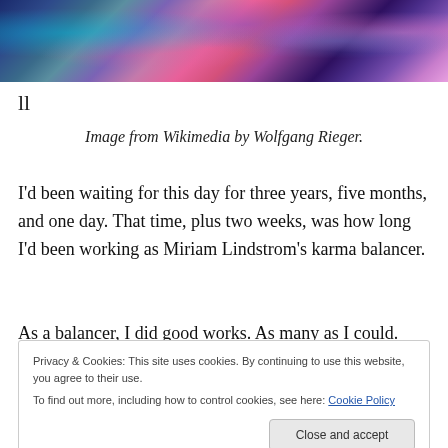[Figure (photo): A photograph showing costumed performers or figures with colorful, vivid costumes in blue, pink, purple, and teal tones.]
ll
Image from Wikimedia by Wolfgang Rieger.
I’d been waiting for this day for three years, five months, and one day. That time, plus two weeks, was how long I’d been working as Miriam Lindstrom’s karma balancer.
As a balancer, I did good works. As many as I could. And I
Privacy & Cookies: This site uses cookies. By continuing to use this website, you agree to their use.
To find out more, including how to control cookies, see here: Cookie Policy
Close and accept